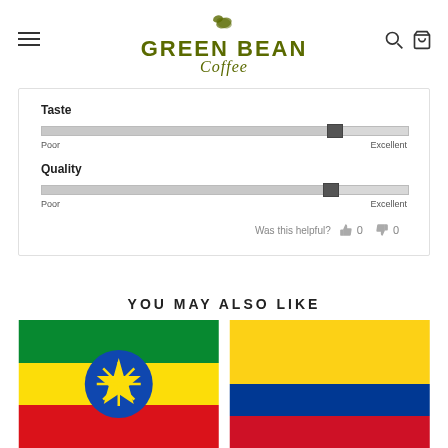Green Bean Coffee
[Figure (infographic): Product review sliders for Taste and Quality, each ranging from Poor to Excellent, with thumbs positioned toward the Excellent end. Was this helpful? 0 thumbs up, 0 thumbs down.]
YOU MAY ALSO LIKE
[Figure (photo): Ethiopian flag with green, yellow, and red horizontal stripes and a blue circle with a gold star in the center]
[Figure (photo): Colombian flag with yellow, blue, and red horizontal stripes]